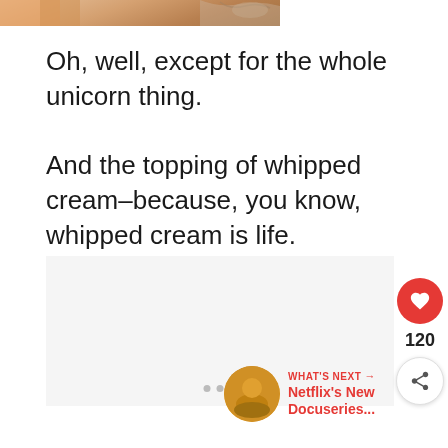[Figure (photo): Partial top of a decorative image, appears to show a food item with ornate swirl decorations on the right side]
Oh, well, except for the whole unicorn thing.
And the topping of whipped cream–because, you know, whipped cream is life.
[Figure (other): Advertisement placeholder box with light gray background and three small gray dots at bottom center]
[Figure (other): Like button: red circular button with white heart icon, count showing 120, and share button below]
[Figure (other): WHAT'S NEXT arrow label with thumbnail avatar and text: Netflix's New Docuseries...]